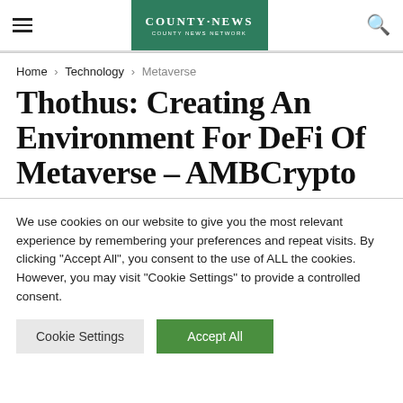≡  [County News Logo]  🔍
Home > Technology > Metaverse
Thothus: Creating An Environment For DeFi Of Metaverse – AMBCrypto
We use cookies on our website to give you the most relevant experience by remembering your preferences and repeat visits. By clicking "Accept All", you consent to the use of ALL the cookies. However, you may visit "Cookie Settings" to provide a controlled consent.
Cookie Settings  Accept All